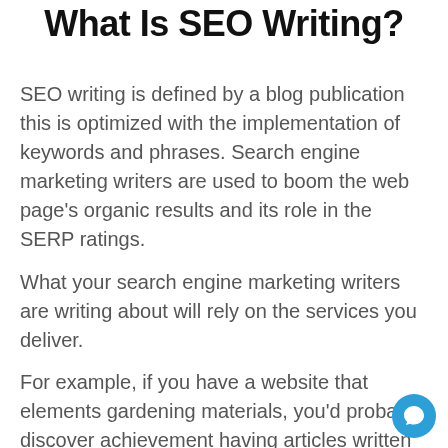What Is SEO Writing?
SEO writing is defined by a blog publication this is optimized with the implementation of keywords and phrases. Search engine marketing writers are used to boom the web page's organic results and its role in the SERP ratings.
What your search engine marketing writers are writing about will rely on the services you deliver.
For example, if you have a website that elements gardening materials, you'd probably discover achievement having articles written about 'How to Grow' a